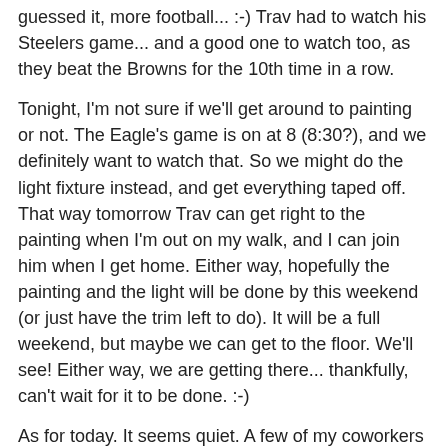guessed it, more football... :-) Trav had to watch his Steelers game... and a good one to watch too, as they beat the Browns for the 10th time in a row.
Tonight, I'm not sure if we'll get around to painting or not. The Eagle's game is on at 8 (8:30?), and we definitely want to watch that. So we might do the light fixture instead, and get everything taped off. That way tomorrow Trav can get right to the painting when I'm out on my walk, and I can join him when I get home. Either way, hopefully the painting and the light will be done by this weekend (or just have the trim left to do). It will be a full weekend, but maybe we can get to the floor. We'll see! Either way, we are getting there... thankfully, can't wait for it to be done. :-)
As for today. It seems quiet. A few of my coworkers are out, and we don't have any events to deal with. Hopefully it will be a good day for me to catch up on my work emails and a few projects that have been pushed aside lately.
Speaking of which, I should probably get to it.
One last thing to leave you with, though I didn't really get to...